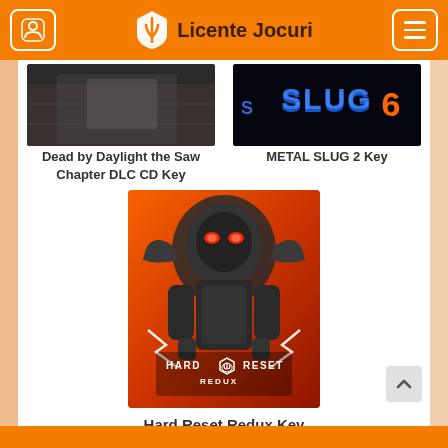Licente Jocuri
[Figure (screenshot): Product thumbnail for Dead by Daylight the Saw Chapter DLC CD Key]
Dead by Daylight the Saw Chapter DLC CD Key
[Figure (screenshot): Product thumbnail for METAL SLUG 2 Key showing SLUG logo]
METAL SLUG 2 Key
[Figure (illustration): Hard Reset Redux game cover art showing a large mechanical robot with glowing red eyes on an orange background with lightning effects and the text HARD RESET REDUX]
Hard Reset Redux Key